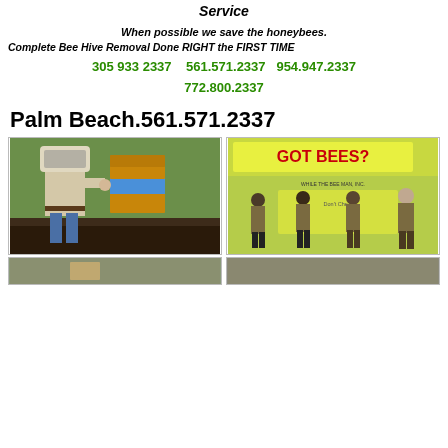Service
When possible we save the honeybees.
Complete Bee Hive Removal Done RIGHT the FIRST TIME
305 933 2337   561.571.2337   954.947.2337   772.800.2337
Palm Beach.561.571.2337
[Figure (photo): Beekeeper in protective gear giving thumbs up next to stacked hive boxes outdoors]
[Figure (photo): GOT BEES? booth with four men in tan uniforms standing in front of a green display banner]
[Figure (photo): Partial photo at bottom left]
[Figure (photo): Partial photo at bottom right]